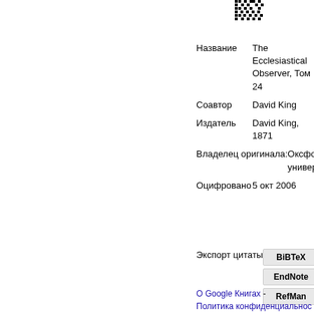[Figure (other): QR code at top of page]
| Название | The Ecclesiastical Observer, Том 24 |
| Соавтор | David King |
| Издатель | David King, 1871 |
| Владелец оригинала: | Оксфордский университет |
| Оцифровано | 5 окт 2006 |
Экспорт цитаты
BiBTeX
EndNote
RefMan
О Google Книгах - Политика конфиденциальности